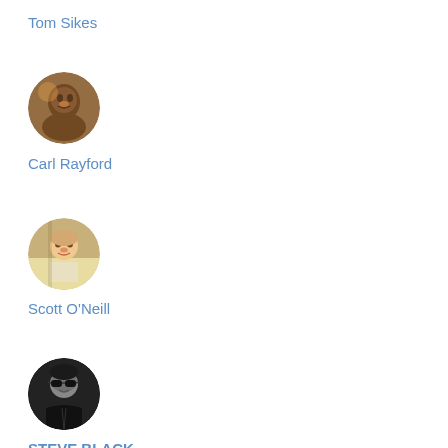Tom Sikes
[Figure (photo): Circular profile photo of Carl Rayford]
Carl Rayford
[Figure (photo): Circular profile photo of Scott O'Neill]
Scott O'Neill
[Figure (photo): Circular black and white profile photo of STEVE BLACK wearing sunglasses]
STEVE BLACK